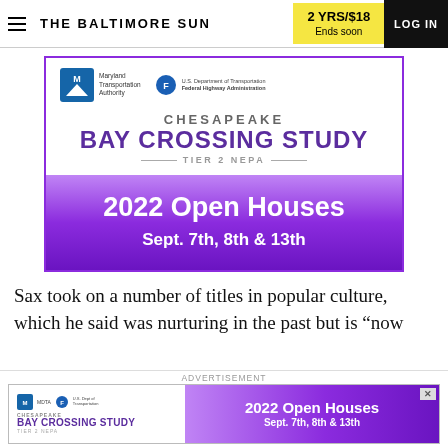THE BALTIMORE SUN | 2 YRS/$18 Ends soon | LOG IN
[Figure (infographic): Chesapeake Bay Crossing Study Tier 2 NEPA advertisement banner with Maryland Transportation Authority and Federal Highway Administration logos. Purple gradient lower half reads: 2022 Open Houses Sept. 7th, 8th & 13th]
Sax took on a number of titles in popular culture, which he said was nurturing in the past but is “now
[Figure (infographic): Bottom advertisement bar for Chesapeake Bay Crossing Study, 2022 Open Houses Sept. 7th, 8th & 13th with purple gradient and logos]